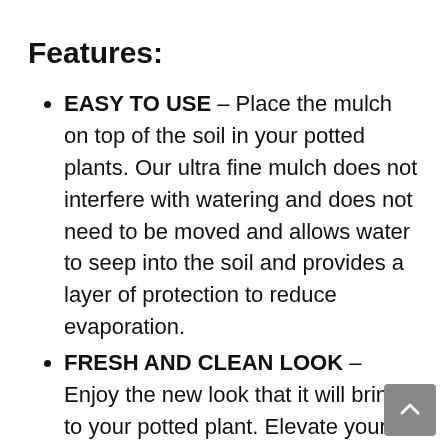Features:
EASY TO USE – Place the mulch on top of the soil in your potted plants. Our ultra fine mulch does not interfere with watering and does not need to be moved and allows water to seep into the soil and provides a layer of protection to reduce evaporation.
FRESH AND CLEAN LOOK – Enjoy the new look that it will bring to your potted plant. Elevate your live plants indoor